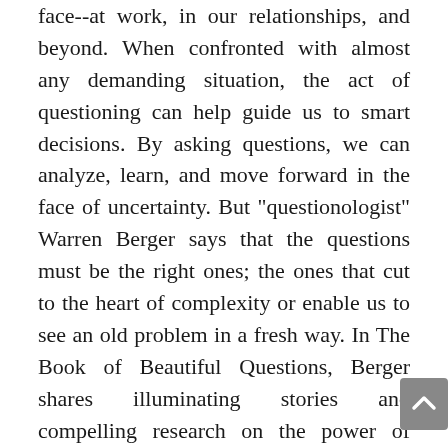face--at work, in our relationships, and beyond. When confronted with almost any demanding situation, the act of questioning can help guide us to smart decisions. By asking questions, we can analyze, learn, and move forward in the face of uncertainty. But "questionologist" Warren Berger says that the questions must be the right ones; the ones that cut to the heart of complexity or enable us to see an old problem in a fresh way. In The Book of Beautiful Questions, Berger shares illuminating stories and compelling research on the power of inquiry. Drawn from the insights and expertise of psychologists, innovators, effective leaders, and some of the world's foremost creative thinkers, he presents the essential questions readers need to make the best choices when it truly counts, with a particular focus in four key areas: decision-making, creativity, leadership, and relationships. The powerful questions in this book can help you: - Identify opportunities in your career or industry - Generate fresh ideas in business or in your own creative